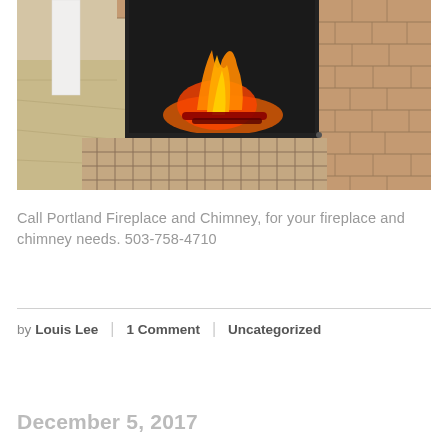[Figure (photo): A lit fireplace with brick surround and tiled hearth, viewed from the side showing wood floors and a white column]
Call Portland Fireplace and Chimney, for your fireplace and chimney needs. 503-758-4710
by Louis Lee | 1 Comment | Uncategorized
December 5, 2017